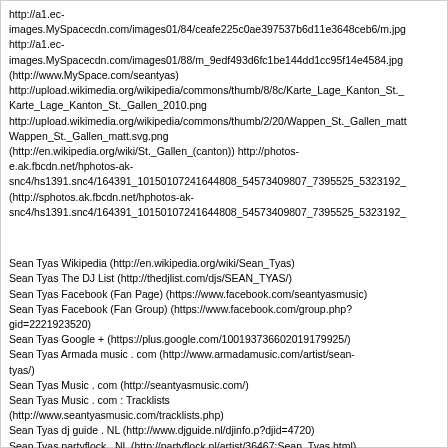http://a1.ec-images.MySpacecdn.com/images01/84/ceafe225c0ae397537b6d11e3648ceb6/m.jpg http://a1.ec-images.MySpacecdn.com/images01/88/m_9edf493d6fc1be144dd1cc95f14e4584.jpg (http://www.MySpace.com/seantyas) http://upload.wikimedia.org/wikipedia/commons/thumb/8/8c/Karte_Lage_Kanton_St._Karte_Lage_Kanton_St._Gallen_2010.png http://upload.wikimedia.org/wikipedia/commons/thumb/2/20/Wappen_St._Gallen_matt Wappen_St._Gallen_matt.svg.png (http://en.wikipedia.org/wiki/St._Gallen_(canton)) http://photos-e.ak.fbcdn.net/hphotos-ak-snc4/hs1391.snc4/164391_10150107241644808_54573409807_7395525_5323192_ (http://sphotos.ak.fbcdn.net/hphotos-ak-snc4/hs1391.snc4/164391_10150107241644808_54573409807_7395525_5323192_
Sean Tyas Wikipedia (http://en.wikipedia.org/wiki/Sean_Tyas)
Sean Tyas The DJ List (http://thedjlist.com/djs/SEAN_TYAS/)
Sean Tyas Facebook (Fan Page) (https://www.facebook.com/seantyasmusic)
Sean Tyas Facebook (Fan Group) (https://www.facebook.com/group.php?gid=2221923520)
Sean Tyas Google + (https://plus.google.com/100193736602019179925/)
Sean Tyas Armada music . com (http://www.armadamusic.com/artist/sean-tyas/)
Sean Tyas Music . com (http://seantyasmusic.com/)
Sean Tyas Music . com : Tracklists (http://www.seantyasmusic.com/tracklists.php)
Sean Tyas dj guide . NL (http://www.djguide.nl/djinfo.p?djid=4720)
Sean Tyas partyflock . NL (http://partyflock.nl/artist/36467:Sean_Tyas.html)
Sean Tyas Amazon (http://www.amazon.com/s/ref=nb_sb_noss?url=node%3D7&field-keywords=Sean+Tyas&x=0&y=0)
Sean Tyas Audiojelly (http://www.audiojelly.com/artists/sean-tyas/3351)
Sean Tyas iTunes Apple (http://itunes.apple.com/nl/artist/sean-